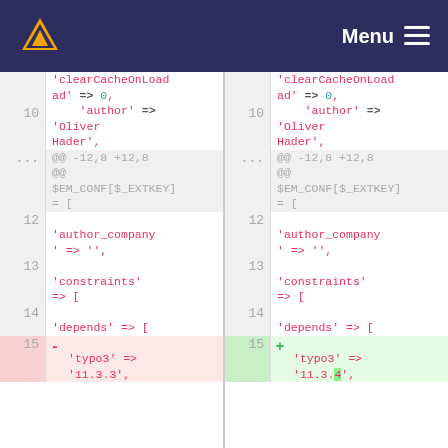Menu navigation bar with logo
[Figure (screenshot): Side-by-side diff view of PHP code showing changes to a TYPO3 extension configuration file. Left pane shows old version with 'typo3' => '11.3.3', right pane shows new version with 'typo3' => '11.3.4'. Lines shown: context lines for clearCacheOnLoad, author Oliver Hader, hunk headers @@ -12,8 +12,8 @@, $EM_CONF[$_EXTKEY] = [, author_company, constraints, depends, and the changed typo3 version line 15.]